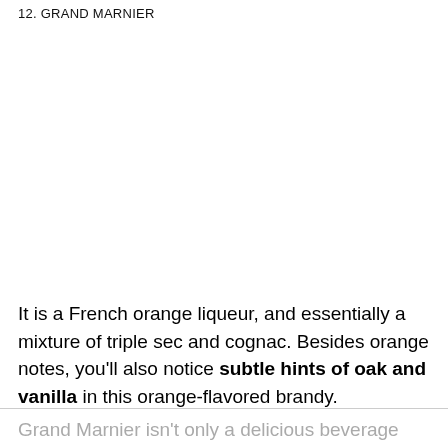12. GRAND MARNIER
It is a French orange liqueur, and essentially a mixture of triple sec and cognac. Besides orange notes, you'll also notice subtle hints of oak and vanilla in this orange-flavored brandy.
Grand Marnier isn't only a delicious beverage and